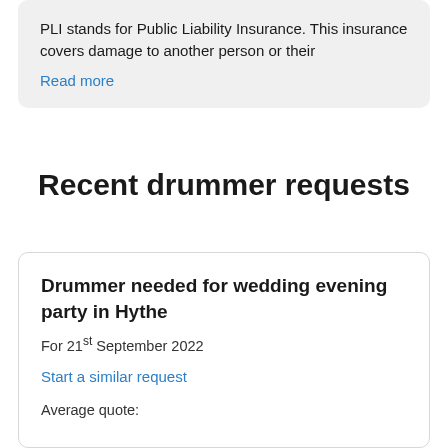PLI stands for Public Liability Insurance. This insurance covers damage to another person or their
Read more
Recent drummer requests
Drummer needed for wedding evening party in Hythe
For 21st September 2022
Start a similar request
Average quote: